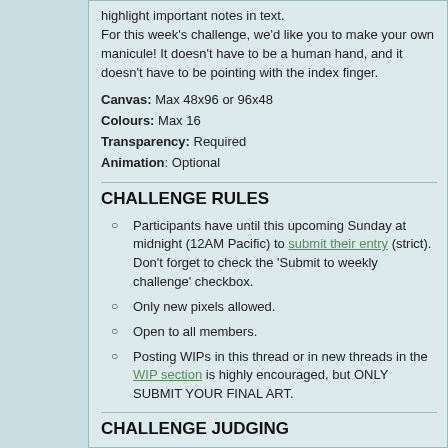highlight important notes in text. For this week's challenge, we'd like you to make your own manicule! It doesn't have to be a human hand, and it doesn't have to be pointing with the index finger.
Canvas: Max 48x96 or 96x48
Colours: Max 16
Transparency: Required
Animation: Optional
CHALLENGE RULES
Participants have until this upcoming Sunday at midnight (12AM Pacific) to submit their entry (strict). Don't forget to check the 'Submit to weekly challenge' checkbox.
Only new pixels allowed.
Open to all members.
Posting WIPs in this thread or in new threads in the WIP section is highly encouraged, but ONLY SUBMIT YOUR FINAL ART.
CHALLENGE JUDGING
Every Sunday at midnight (12AM Pacific) the previous week's entries are judged.
Every week a new voting poll will be posted for previous week's entries.
Winner announced the following week.